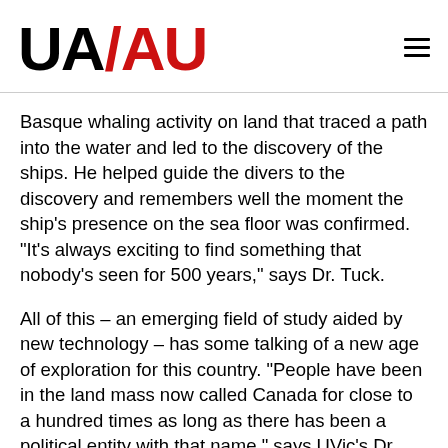UA/AU
Basque whaling activity on land that traced a path into the water and led to the discovery of the ships. He helped guide the divers to the discovery and remembers well the moment the ship's presence on the sea floor was confirmed. “It’s always exciting to find something that nobody’s seen for 500 years,” says Dr. Tuck.
All of this – an emerging field of study aided by new technology – has some talking of a new age of exploration for this country. “People have been in the land mass now called Canada for close to a hundred times as long as there has been a political entity with that name,” says UVic’s Dr. Mackie. “During that time, countless other nations have risen and fallen here.”